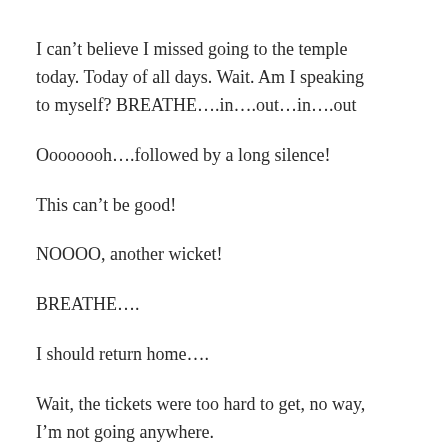I can't believe I missed going to the temple today. Today of all days. Wait. Am I speaking to myself? BREATHE….in….out…in….out
Oooooooh….followed by a long silence!
This can't be good!
NOOOO, another wicket!
BREATHE….
I should return home….
Wait, the tickets were too hard to get, no way, I'm not going anywhere.
More pacing. More praying.